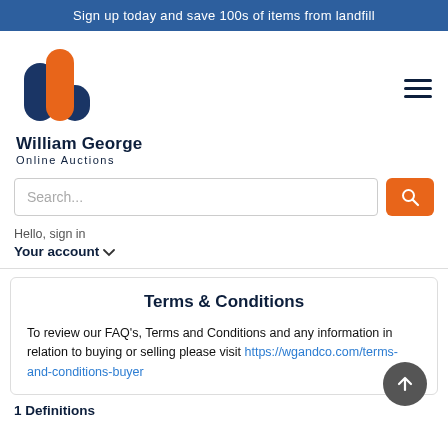Sign up today and save 100s of items from landfill
[Figure (logo): William George Online Auctions logo with bar chart icon in blue and orange]
Hello, sign in
Your account
Terms & Conditions
To review our FAQ's, Terms and Conditions and any information in relation to buying or selling please visit https://wgandco.com/terms-and-conditions-buyer
1 Definitions